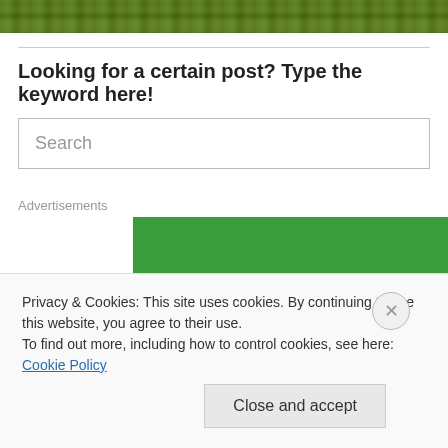[Figure (photo): Green grass close-up photo strip at the top of the page]
Looking for a certain post? Type the keyword here!
Search
Advertisements
[Figure (logo): Jetpack logo on green background — white circular lightning bolt icon with 'Jetpack' text in white]
Privacy & Cookies: This site uses cookies. By continuing to use this website, you agree to their use.
To find out more, including how to control cookies, see here: Cookie Policy
Close and accept